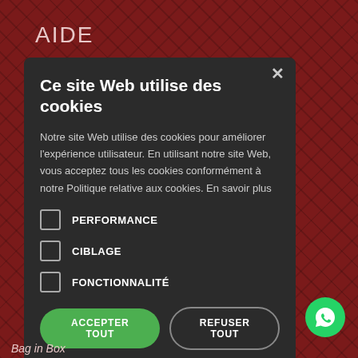AIDE
Ce site Web utilise des cookies
Notre site Web utilise des cookies pour améliorer l'expérience utilisateur. En utilisant notre site Web, vous acceptez tous les cookies conformément à notre Politique relative aux cookies. En savoir plus
PERFORMANCE
CIBLAGE
FONCTIONNALITÉ
ACCEPTER TOUT
REFUSER TOUT
AFFICHER LES DÉTAILS
Bag in Box